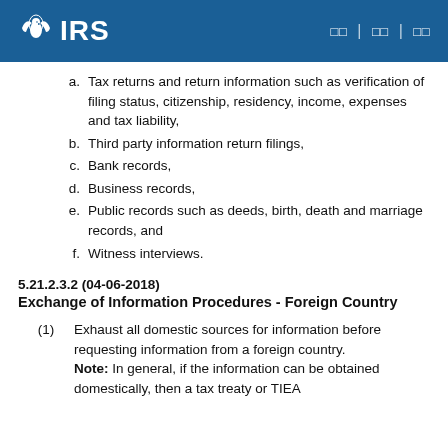IRS
a. Tax returns and return information such as verification of filing status, citizenship, residency, income, expenses and tax liability,
b. Third party information return filings,
c. Bank records,
d. Business records,
e. Public records such as deeds, birth, death and marriage records, and
f. Witness interviews.
5.21.2.3.2 (04-06-2018)
Exchange of Information Procedures - Foreign Country
(1) Exhaust all domestic sources for information before requesting information from a foreign country. Note: In general, if the information can be obtained domestically, then a tax treaty or TIEA